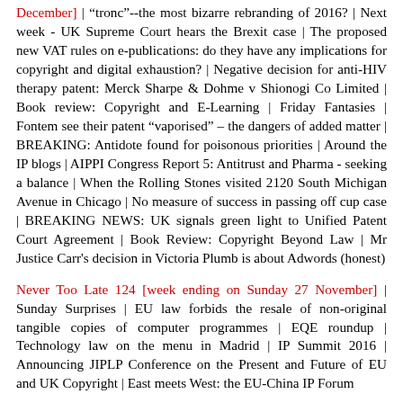December] | "tronc"--the most bizarre rebranding of 2016? | Next week - UK Supreme Court hears the Brexit case | The proposed new VAT rules on e-publications: do they have any implications for copyright and digital exhaustion? | Negative decision for anti-HIV therapy patent: Merck Sharpe & Dohme v Shionogi Co Limited | Book review: Copyright and E-Learning | Friday Fantasies | Fontem see their patent “vaporised” – the dangers of added matter | BREAKING: Antidote found for poisonous priorities | Around the IP blogs | AIPPI Congress Report 5: Antitrust and Pharma - seeking a balance | When the Rolling Stones visited 2120 South Michigan Avenue in Chicago | No measure of success in passing off cup case | BREAKING NEWS: UK signals green light to Unified Patent Court Agreement | Book Review: Copyright Beyond Law | Mr Justice Carr's decision in Victoria Plumb is about Adwords (honest)
Never Too Late 124 [week ending on Sunday 27 November] | Sunday Surprises | EU law forbids the resale of non-original tangible copies of computer programmes | EQE roundup | Technology law on the menu in Madrid | IP Summit 2016 | Announcing JIPLP Conference on the Present and Future of EU and UK Copyright | East meets West: the EU-China IP Forum